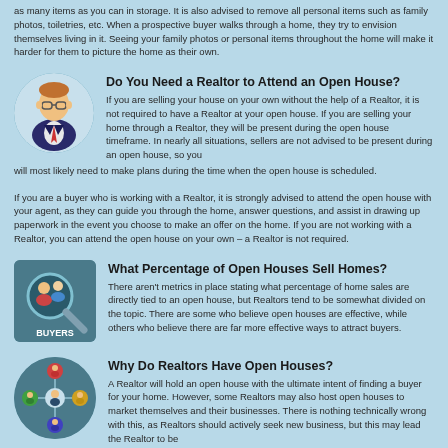as many items as you can in storage. It is also advised to remove all personal items such as family photos, toiletries, etc. When a prospective buyer walks through a home, they try to envision themselves living in it. Seeing your family photos or personal items throughout the home will make it harder for them to picture the home as their own.
Do You Need a Realtor to Attend an Open House?
If you are selling your house on your own without the help of a Realtor, it is not required to have a Realtor at your open house. If you are selling your home through a Realtor, they will be present during the open house timeframe. In nearly all situations, sellers are not advised to be present during an open house, so you will most likely need to make plans during the time when the open house is scheduled.
If you are a buyer who is working with a Realtor, it is strongly advised to attend the open house with your agent, as they can guide you through the home, answer questions, and assist in drawing up paperwork in the event you choose to make an offer on the home. If you are not working with a Realtor, you can attend the open house on your own – a Realtor is not required.
What Percentage of Open Houses Sell Homes?
There aren't metrics in place stating what percentage of home sales are directly tied to an open house, but Realtors tend to be somewhat divided on the topic. There are some who believe open houses are effective, while others who believe there are far more effective ways to attract buyers.
Why Do Realtors Have Open Houses?
A Realtor will hold an open house with the ultimate intent of finding a buyer for your home. However, some Realtors may also host open houses to market themselves and their businesses. There is nothing technically wrong with this, as Realtors should actively seek new business, but this may lead the Realtor to be distracted while speaking with prospective new clients and be less focused on the buyers who may want to buy your home. This is certainly not always the case, but open houses do pose the perfect opportunity for Realtors to network with prospective buyers who are not working with a Realtor.
Key Takeaways
Although an open house certainly will not hurt your chances of selling a home, there are other methods that may prove to be less time consuming and more